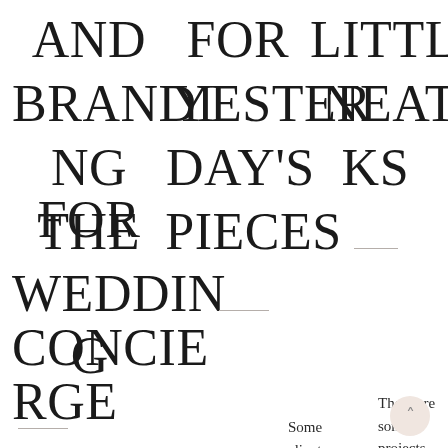AND FOR LITTLE BRANDING FOR YESTERDAY'S NEATPICKS FOR THE PIECES WEDDING CONCIERGE
There are some projects
Some clients are